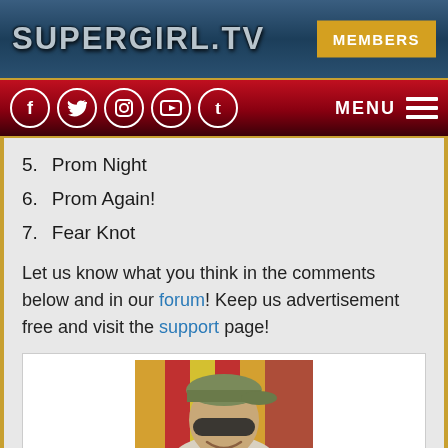SUPERGIRL.TV   MEMBERS
f t [instagram] [youtube] t   MENU
5.  Prom Night
6.  Prom Again!
7.  Fear Knot
Let us know what you think in the comments below and in our forum! Keep us advertisement free and visit the support page!
[Figure (photo): Profile photo of a man wearing a cap and sunglasses, smiling, with a colorful striped background]